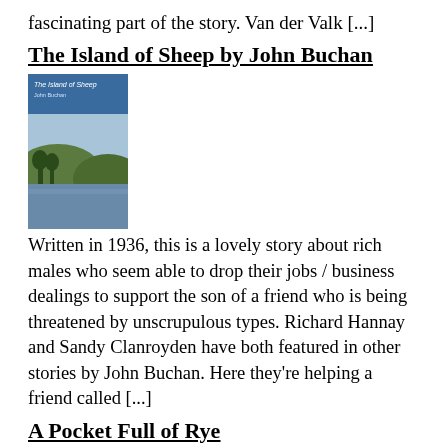fascinating part of the story. Van der Valk [...]
The Island of Sheep by John Buchan
[Figure (photo): Book cover of 'The Island of Sheep' by John Buchan, showing blue header text and a landscape image below.]
Written in 1936, this is a lovely story about rich males who seem able to drop their jobs / business dealings to support the son of a friend who is being threatened by unscrupulous types. Richard Hannay and Sandy Clanroyden have both featured in other stories by John Buchan. Here they're helping a friend called [...]
A Pocket Full of Rye
[Figure (photo): Book cover of 'A Pocket Full of Rye' by Agatha Christie, showing author name and title text over a warm-toned background image.]
Rex Fortescue, Adele Fortescue, and Gladys Martin